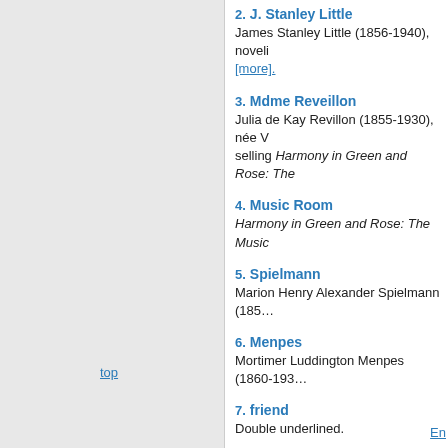2. J. Stanley Little — James Stanley Little (1856-1940), noveli… [more].
3. Mdme Reveillon — Julia de Kay Revillon (1855-1930), née V… selling Harmony in Green and Rose: The…
4. Music Room — Harmony in Green and Rose: The Music…
5. Spielmann — Marion Henry Alexander Spielmann (185…
6. Menpes — Mortimer Luddington Menpes (1860-193…
7. friend — Double underlined.
top
En…